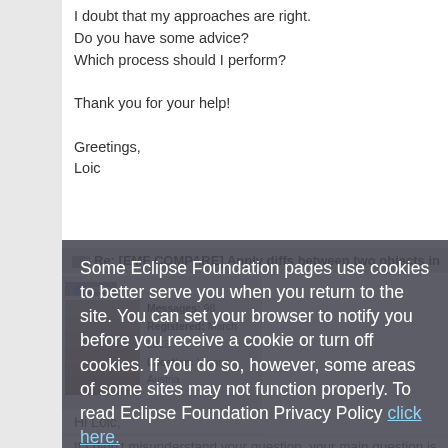I doubt that my approaches are right.
Do you have some advice?
Which process should I perform?

Thank you for your help!

Greetings,
Loic
Re: [EMF COMPARE] Apply diffs between two objects in
Messages: 98
Registered: March 2013
Location: Vienna, Austria
Hi Loic,
If I didn't misunderstand your question, your main question is whe
A few years ago, there was a project called "EMF Patch" which all
Some Eclipse Foundation pages use cookies to better serve you when you return to the site. You can set your browser to notify you before you receive a cookie or turn off cookies. If you do so, however, some areas of some sites may not function properly. To read Eclipse Foundation Privacy Policy click here.